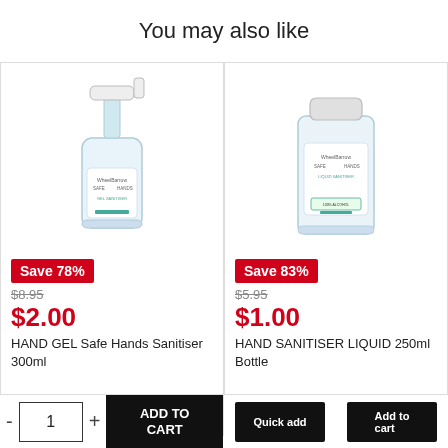You may also like
[Figure (photo): Hand gel sanitiser pump bottle 300ml with Safe Hands label]
Save 78%
$8.95
$2.00
HAND GEL Safe Hands Sanitiser 300ml
[Figure (photo): Hand sanitiser liquid 250ml bottle with Safe Hands label]
Save 83%
$5.95
$1.00
HAND SANITISER LIQUID 250ml Bottle